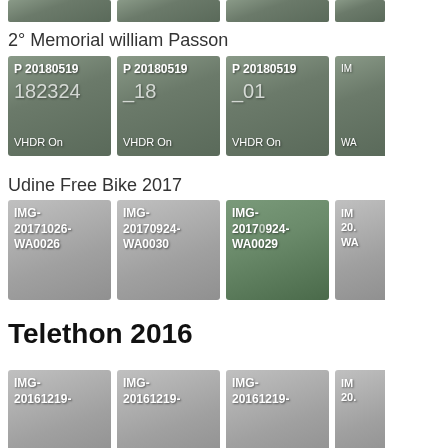[Figure (photo): Row of partial photo thumbnails at top of page (cropped from above)]
2° Memorial william Passon
[Figure (photo): Four photo thumbnails labeled P 20180519 with VHDR On watermark, showing group of people outdoors]
Udine Free Bike 2017
[Figure (photo): Four photo thumbnails labeled IMG-20171026-WA0026, IMG-20170924-WA0030, IMG-20170924-WA0029, and partially cropped fourth image]
Telethon 2016
[Figure (photo): Four photo thumbnails labeled IMG-20161219-... (partially cropped at bottom)]